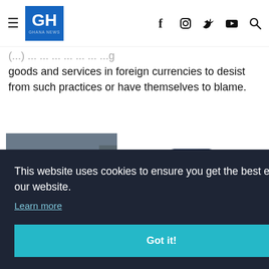GH GHANA NEWS
goods and services in foreign currencies to desist from such practices or have themselves to blame.
[Figure (screenshot): Screenshot of a mobile racing game showing a top-down aerial view of a car on a road with green laser lines]
[Figure (photo): App icon with rounded corners showing a dark police/racing car with red siren light on a blue background]
This website uses cookies to ensure you get the best experience on our website. Learn more Got it!